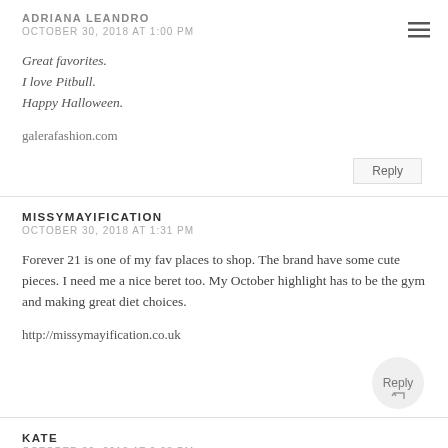ADRIANA LEANDRO
OCTOBER 30, 2018 AT 1:00 PM
Great favorites.
I love Pitbull.
Happy Halloween.
galerafashion.com
Reply
MISSYMAYIFICATION
OCTOBER 30, 2018 AT 1:31 PM
Forever 21 is one of my fav places to shop. The brand have some cute pieces. I need me a nice beret too. My October highlight has to be the gym and making great diet choices.
http://missymayification.co.uk
Reply
KATE
OCTOBER 30, 2018 AT 2:08 PM